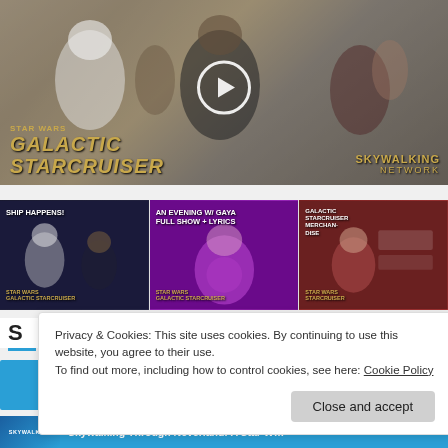[Figure (screenshot): Star Wars Galactic Starcruiser video thumbnail with stormtroopers and performers, play button overlay, Skywalking Network branding]
[Figure (screenshot): Three video thumbnails: Ship Happens!, An Evening w/Gaya Full Show + Lyrics, and a Galactic Starcruiser merchandise video]
Privacy & Cookies: This site uses cookies. By continuing to use this website, you agree to their use.
To find out more, including how to control cookies, see here: Cookie Policy
Close and accept
Skywalking Through Neverland: A Star W…